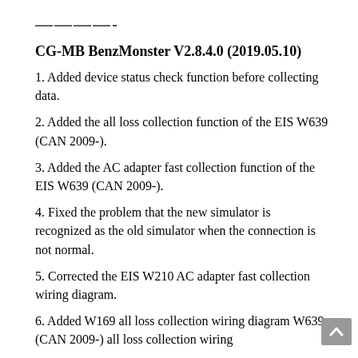————-
CG-MB BenzMonster V2.8.4.0 (2019.05.10)
1. Added device status check function before collecting data.
2. Added the all loss collection function of the EIS W639 (CAN 2009-).
3. Added the AC adapter fast collection function of the EIS W639 (CAN 2009-).
4. Fixed the problem that the new simulator is recognized as the old simulator when the connection is not normal.
5. Corrected the EIS W210 AC adapter fast collection wiring diagram.
6. Added W169 all loss collection wiring diagram W639 (CAN 2009-) all loss collection wiring